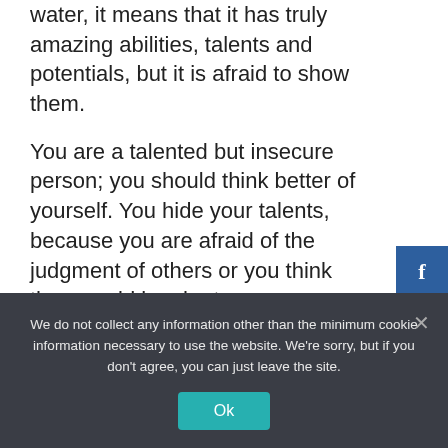water, it means that it has truly amazing abilities, talents and potentials, but it is afraid to show them.
You are a talented but insecure person; you should think better of yourself. You hide your talents, because you are afraid of the judgment of others or you think they would laugh at you.
We do not collect any information other than the minimum cookie information necessary to use the website. We're sorry, but if you don't agree, you can just leave the site.